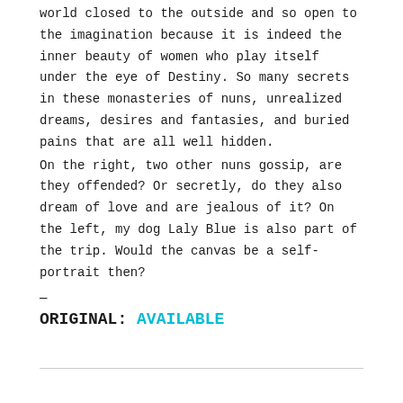world closed to the outside and so open to the imagination because it is indeed the inner beauty of women who play itself under the eye of Destiny. So many secrets in these monasteries of nuns, unrealized dreams, desires and fantasies, and buried pains that are all well hidden.
On the right, two other nuns gossip, are they offended? Or secretly, do they also dream of love and are jealous of it? On the left, my dog Laly Blue is also part of the trip. Would the canvas be a self-portrait then?
—
ORIGINAL: AVAILABLE